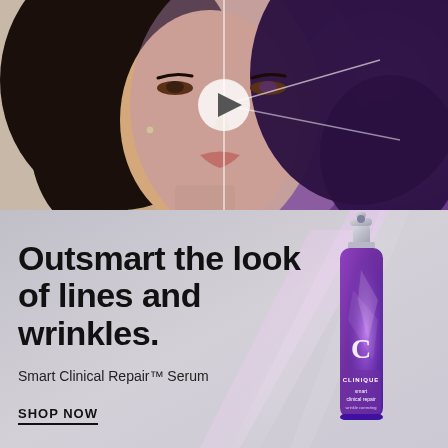[Figure (photo): Split photo of a woman's face. Left half shows natural/before look with neutral background, right half shows after look with purple glowing background. A white play button triangle is overlaid at the center.]
Outsmart the look of lines and wrinkles.
Smart Clinical Repair™ Serum
SHOP NOW
[Figure (photo): Clinique Smart Clinical Repair wrinkle correcting serum bottle — tall purple glass bottle with silver pump top, featuring the Clinique logo and 'smart clinical repair' text on label, with light beam graphics]